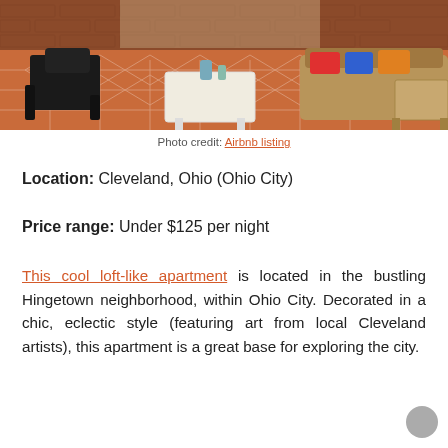[Figure (photo): Interior photo of a loft-like apartment with modern black chairs, a patterned terracotta tile floor, a white coffee table, and a brown leather sofa with colorful pillows. Brick wall in the background.]
Photo credit: Airbnb listing
Location: Cleveland, Ohio (Ohio City)
Price range: Under $125 per night
This cool loft-like apartment is located in the bustling Hingetown neighborhood, within Ohio City. Decorated in a chic, eclectic style (featuring art from local Cleveland artists), this apartment is a great base for exploring the city.